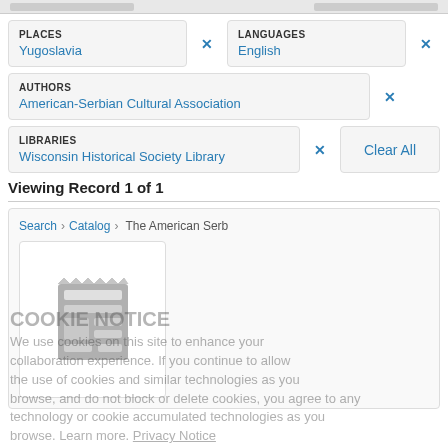PLACES: Yugoslavia ×
LANGUAGES: English ×
AUTHORS: American-Serbian Cultural Association ×
LIBRARIES: Wisconsin Historical Society Library × Clear All
Viewing Record 1 of 1
COOKIE NOTICE
We use cookies on this site to enhance your
collaboration experience. If you continue to allow
the use of cookies and similar technologies as you
browse, and do not block or delete cookies, you agree to any
technology or cookie accumulated technologies as you
browse. Learn more. Privacy Notice
Got it!
Search › Catalog › The American Serb
[Figure (other): Thumbnail image placeholder icon for a catalog record, showing a grey newspaper/document icon]